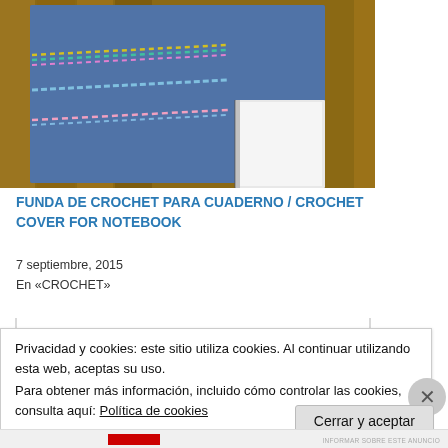[Figure (photo): A blue crochet notebook cover with colorful dotted stripe decorations, placed on a wooden surface. The notebook's white pages are visible along the spine.]
FUNDA DE CROCHET PARA CUADERNO / CROCHET COVER FOR NOTEBOOK
7 septiembre, 2015
En «CROCHET»
Privacidad y cookies: este sitio utiliza cookies. Al continuar utilizando esta web, aceptas su uso.
Para obtener más información, incluido cómo controlar las cookies, consulta aquí: Política de cookies
Cerrar y aceptar